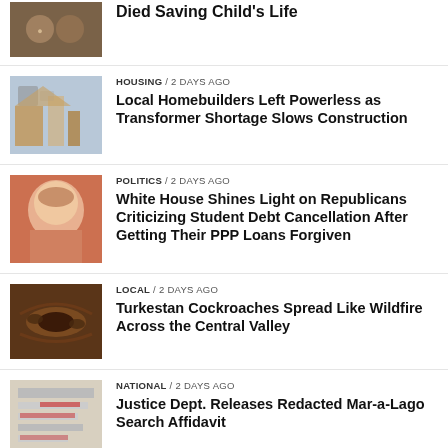Died Saving Child's Life
HOUSING / 2 days ago — Local Homebuilders Left Powerless as Transformer Shortage Slows Construction
POLITICS / 2 days ago — White House Shines Light on Republicans Criticizing Student Debt Cancellation After Getting Their PPP Loans Forgiven
LOCAL / 2 days ago — Turkestan Cockroaches Spread Like Wildfire Across the Central Valley
NATIONAL / 2 days ago — Justice Dept. Releases Redacted Mar-a-Lago Search Affidavit
LOCAL / 2 days ago